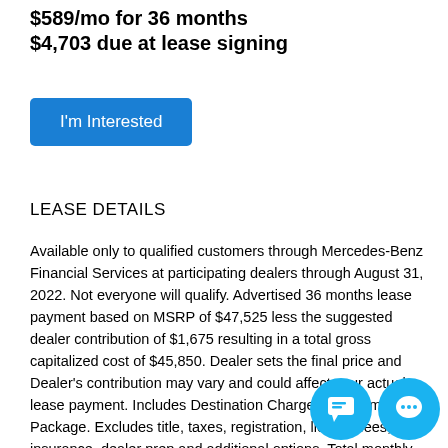$589/mo for 36 months
$4,703 due at lease signing
[Figure (other): Blue 'I'm Interested' button]
LEASE DETAILS
Available only to qualified customers through Mercedes-Benz Financial Services at participating dealers through August 31, 2022. Not everyone will qualify. Advertised 36 months lease payment based on MSRP of $47,525 less the suggested dealer contribution of $1,675 resulting in a total gross capitalized cost of $45,850. Dealer sets the final price and Dealer's contribution may vary and could affect your actual lease payment. Includes Destination Charge and Premium 1 Package. Excludes title, taxes, registration, license fees, insurance, dealer prep and additional options. Total monthly payments equal $21,204. Cash due at signing includes $3,319 capitalized cost reduction, $795 acquisition fee and first month's lease payment of $589. Your acquisition fee may vary by dealership. The acquisition fee charged by the dealer may affect the total cash due at signing. No security deposit required. Total payments equal $25,318. At lease end, lessee is responsible for any amounts due under the lease, any official fees and taxes